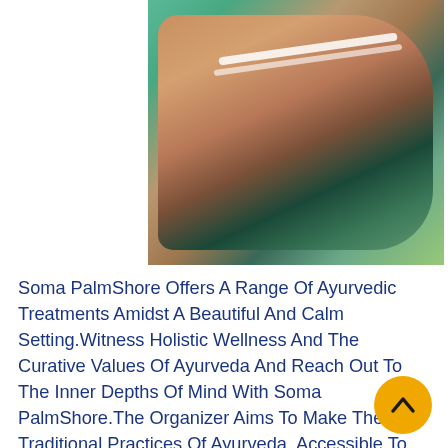[Figure (photo): A person lying back with eyes closed receiving an Ayurvedic treatment, with a white bandage or cloth on the forehead, wearing a green top, with blurred palm trees in the background and a golden oil drip visible.]
Soma PalmShore Offers A Range Of Ayurvedic Treatments Amidst A Beautiful And Calm Setting.Witness Holistic Wellness And The Curative Values Of Ayurveda And Reach Out To The Inner Depths Of Mind With Soma PalmShore.The Organizer Aims To Make The Traditional Practices Of Ayurveda, Accessible To Wellness Enthusiasts The center is based in the Trivandrum region of Kerala and radiates tranquility with its palm-fringed beaches and beautiful villages. The center is located at the Kovalam Lighthouse beach and offers various facilities to enhance the experience of the wellness retreat. The center has 35